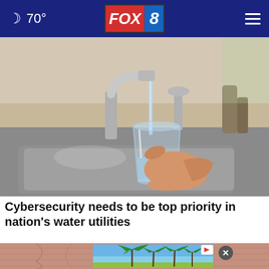70° FOX 8
[Figure (photo): A hand holding a clear glass being filled with water from a kitchen faucet over a stainless steel sink]
Cybersecurity needs to be top priority in nation's water utilities
[Figure (photo): Second article thumbnail image showing pink textured background with an advertisement overlay showing palm trees]